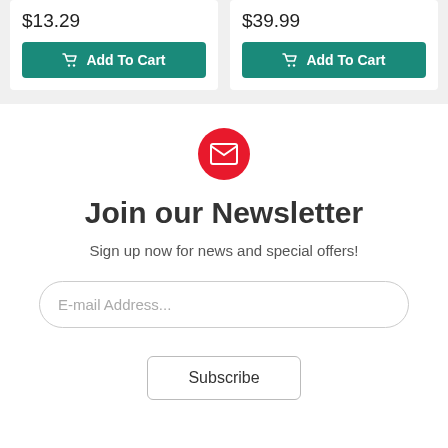$13.29
Add To Cart
$39.99
Add To Cart
[Figure (illustration): Red circle with white envelope/mail icon]
Join our Newsletter
Sign up now for news and special offers!
E-mail Address...
Subscribe